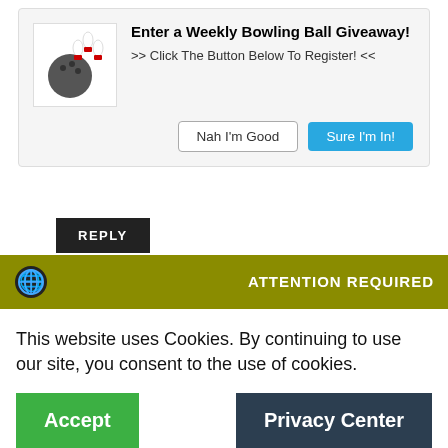[Figure (other): Giveaway banner with bowling ball and pins icon, title 'Enter a Weekly Bowling Ball Giveaway!', subtitle '>> Click The Button Below To Register! <<', and two buttons: 'Nah I'm Good' and 'Sure I'm In!']
REPLY
Eric Helgemo  March 10, 2021 at 3:18 pm
What a complete sho... I'm stunned to...
ATTENTION REQUIRED
This website uses Cookies. By continuing to use our site, you consent to the use of cookies.
Accept
Privacy Center